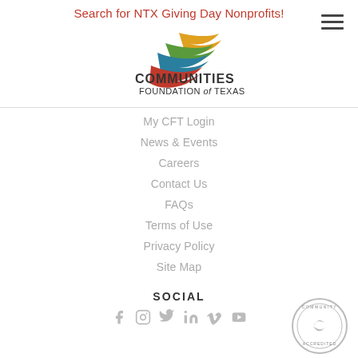Search for NTX Giving Day Nonprofits!
[Figure (logo): Communities Foundation of Texas logo with colorful wave/flame design in gold, green, teal, and red]
My CFT Login
News & Events
Careers
Contact Us
FAQs
Terms of Use
Privacy Policy
Site Map
SOCIAL
[Figure (illustration): Social media icons: Facebook, Instagram, Twitter, LinkedIn, Vimeo, YouTube]
[Figure (logo): Community Accredited seal/badge in gray]